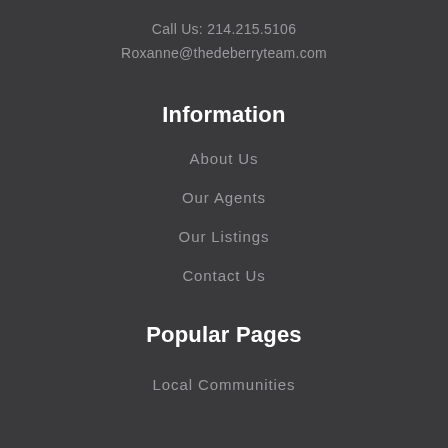Call Us: 214.215.5106
Roxanne@thedeberryteam.com
Information
About Us
Our Agents
Our Listings
Contact Us
Popular Pages
Local Communities